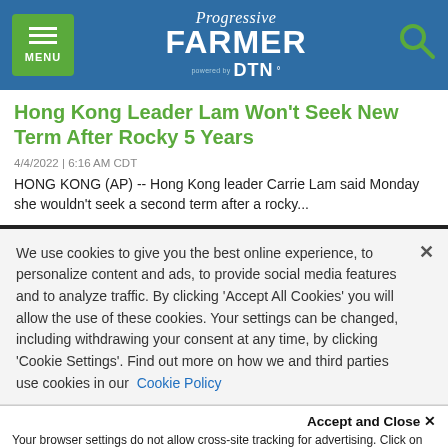Progressive FARMER powered by DTN — navigation header with menu and search
Hong Kong Leader Lam Won't Seek New Term After Rocky 5 Years
4/4/2022 | 6:16 AM CDT
HONG KONG (AP) -- Hong Kong leader Carrie Lam said Monday she wouldn't seek a second term after a rocky...
We use cookies to give you the best online experience, to personalize content and ads, to provide social media features and to analyze traffic. By clicking 'Accept All Cookies' you will allow the use of these cookies. Your settings can be changed, including withdrawing your consent at any time, by clicking 'Cookie Settings'. Find out more on how we and third parties use cookies in our  Cookie Policy
Accept and Close ×
Your browser settings do not allow cross-site tracking for advertising. Click on this page to allow AdRoll to use cross-site tracking to tailor ads to you. Learn more or opt out of this AdRoll tracking by clicking here. This message only appears once.